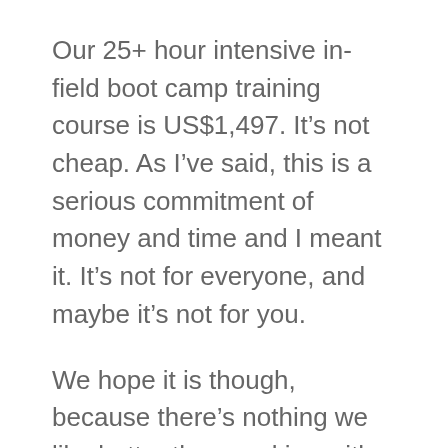Our 25+ hour intensive in-field boot camp training course is US$1,497. It's not cheap. As I've said, this is a serious commitment of money and time and I meant it. It's not for everyone, and maybe it's not for you.
We hope it is though, because there's nothing we like better than working with cool, motivated guys like you and helping you GET THE ASIAN WOMEN YOU WANT.
We specialize in Asia. We live here, we work here, we play here. We will take you